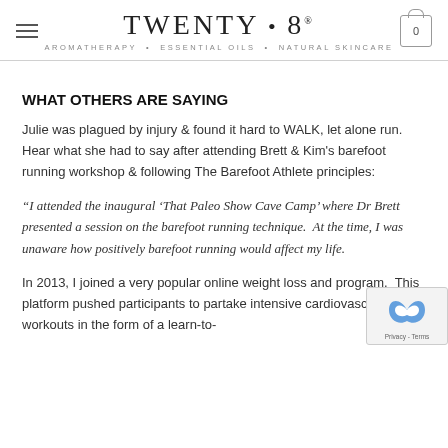TWENTY·8 AROMATHERAPY + ESSENTIAL OILS + NATURAL SKINCARE
WHAT OTHERS ARE SAYING
Julie was plagued by injury & found it hard to WALK, let alone run. Hear what she had to say after attending Brett & Kim's barefoot running workshop & following The Barefoot Athlete principles:
“I attended the inaugural ‘That Paleo Show Cave Camp’ where Dr Brett presented a session on the barefoot running technique.  At the time, I was unaware how positively barefoot running would affect my life.
In 2013, I joined a very popular online weight loss and program.  This platform pushed participants to partake intensive cardiovascular workouts in the form of a learn-to-